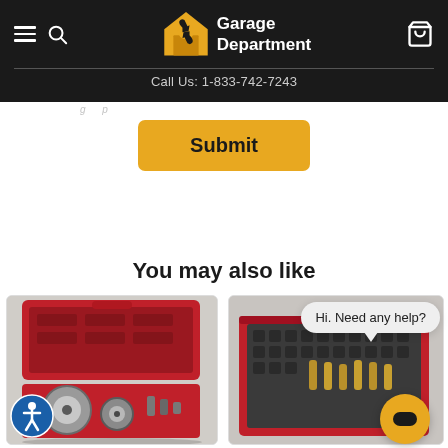Garage Department — Call Us: 1-833-742-7243
Submit
You may also like
[Figure (photo): Red tool case open showing circular disc tools and accessories inside]
[Figure (photo): Red tool case open showing foam insert with various tools]